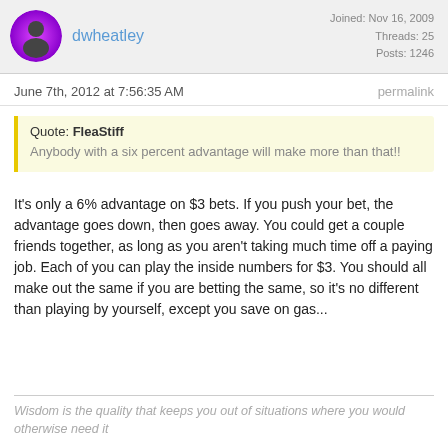dwheatley | Joined: Nov 16, 2009 | Threads: 25 | Posts: 1246
June 7th, 2012 at 7:56:35 AM
permalink
Quote: FleaStiff
Anybody with a six percent advantage will make more than that!!
It's only a 6% advantage on $3 bets. If you push your bet, the advantage goes down, then goes away. You could get a couple friends together, as long as you aren't taking much time off a paying job. Each of you can play the inside numbers for $3. You should all make out the same if you are betting the same, so it's no different than playing by yourself, except you save on gas...
Wisdom is the quality that keeps you out of situations where you would otherwise need it